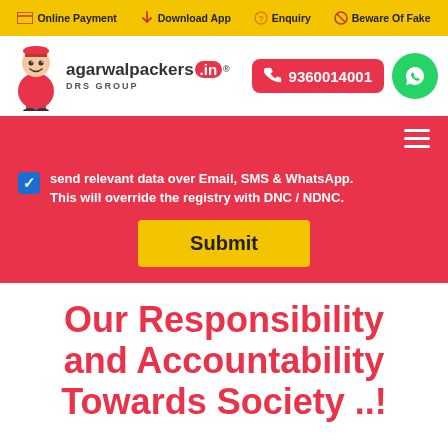Online Payment  Download App  Enquiry  Beware Of Fake
[Figure (logo): Agarwal Packers logo with mascot character, brand name agarwalpackers.in, DRS GROUP text, phone number 9360014001, and WhatsApp icon]
send relevant data over Email, SMS & WhatsApp. This will override the registry with DNC / NDNC.
Submit
Our Responsibility and Accountability Towards Society ..!